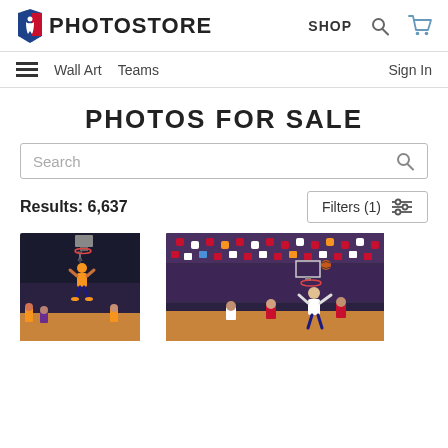NBA PHOTOSTORE | SHOP
Wall Art   Teams   Sign In
PHOTOS FOR SALE
Search
Results: 6,637
Filters (1)
[Figure (photo): NBA basketball player in orange Phoenix Suns jersey dunking near the basket in an arena with crowd in the background]
[Figure (photo): NBA basketball player in white uniform shooting or catching ball near the basket in a packed arena with crowd visible]